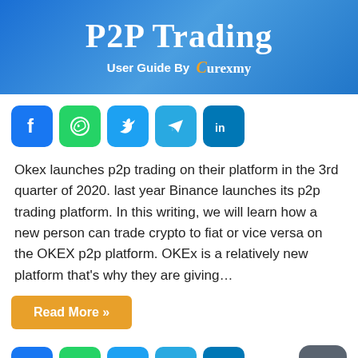[Figure (infographic): Blue gradient header banner with 'P2P Trading' title and 'User Guide By Curexmy' subtitle]
[Figure (infographic): Row of social media icons: Facebook, WhatsApp, Twitter, Telegram, LinkedIn]
Okex launches p2p trading on their platform in the 3rd quarter of 2020. last year Binance launches its p2p trading platform. In this writing, we will learn how a new person can trade crypto to fiat or vice versa on the OKEX p2p platform. OKEx is a relatively new platform that's why they are giving…
[Figure (infographic): Read More » button in golden/orange color]
[Figure (infographic): Row of social media icons at bottom: Facebook, WhatsApp, Twitter, Telegram, LinkedIn]
[Figure (infographic): Dark gray rounded square moon/night mode icon at bottom right]